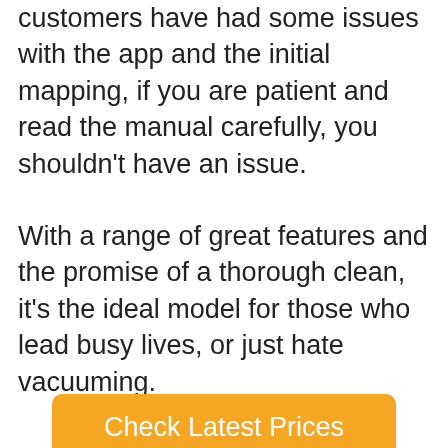customers have had some issues with the app and the initial mapping, if you are patient and read the manual carefully, you shouldn't have an issue.
With a range of great features and the promise of a thorough clean, it's the ideal model for those who lead busy lives, or just hate vacuuming.
[Figure (other): Orange button labeled 'Check Latest Prices']
Search for
1. TOP RATED VACUUM CLEANERS
2. BEST VACUUM CLEANERS FOR PET